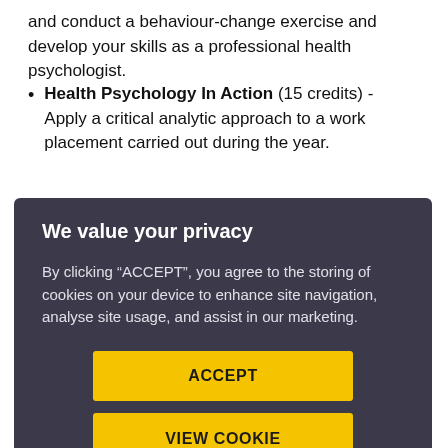and conduct a behaviour-change exercise and develop your skills as a professional health psychologist.
Health Psychology In Action (15 credits) - Apply a critical analytic approach to a work placement carried out during the year.
We value your privacy
By clicking “ACCEPT”, you agree to the storing of cookies on your device to enhance site navigation, analyse site usage, and assist in our marketing.
ACCEPT
VIEW COOKIE SETTINGS